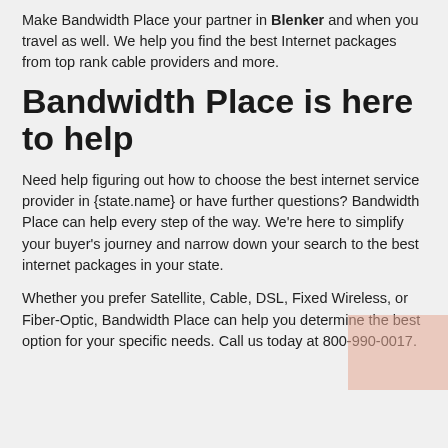Make Bandwidth Place your partner in Blenker and when you travel as well. We help you find the best Internet packages from top rank cable providers and more.
Bandwidth Place is here to help
Need help figuring out how to choose the best internet service provider in {state.name} or have further questions? Bandwidth Place can help every step of the way. We're here to simplify your buyer's journey and narrow down your search to the best internet packages in your state.
Whether you prefer Satellite, Cable, DSL, Fixed Wireless, or Fiber-Optic, Bandwidth Place can help you determine the best option for your specific needs. Call us today at 800-990-0017.